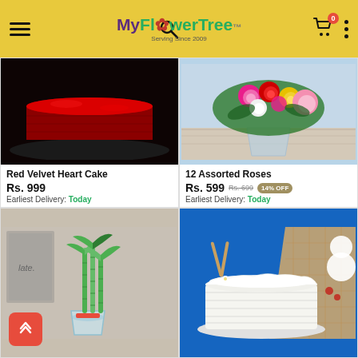MyFlowerTree – Serving Since 2009
[Figure (photo): Red Velvet Heart Cake on black surface]
Red Velvet Heart Cake
Rs. 999
Earliest Delivery: Today
[Figure (photo): 12 Assorted Roses bouquet in glass vase]
12 Assorted Roses
Rs. 599 Rs. 699 14% OFF
Earliest Delivery: Today
[Figure (photo): Lucky bamboo plant in glass vase]
[Figure (photo): White cream cake on blue background]